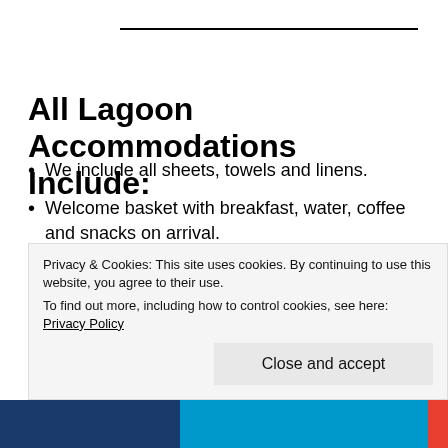All Lagoon Accommodations Include:
We include all sheets, towels and linens.
Welcome basket with breakfast, water, coffee and snacks on arrival.
Soaps and toilet paper are provided.
We provide a weekly change of linens and a mid stay clean for all stays over 11 nights.
We include electricity and WiFi...
Privacy & Cookies: This site uses cookies. By continuing to use this website, you agree to their use.
To find out more, including how to control cookies, see here: Privacy Policy
Close and accept